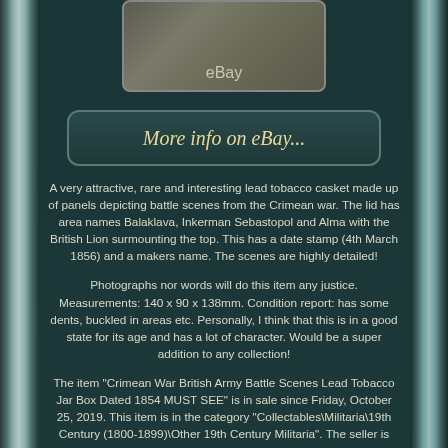[Figure (screenshot): eBay product image placeholder with dark textured background and 'eBay' label]
[Figure (other): Button styled element reading 'More info on eBay...' with italic yellow-gold text on dark rounded rectangle]
A very attractive, rare and interesting lead tobacco casket made up of panels depicting battle scenes from the Crimean war. The lid has area names Balaklava, Inkerman Sebastopol and Alma with the British Lion surmounting the top. This has a date stamp (4th March 1856) and a makers name. The scenes are highly detailed!
Photographs nor words will do this item any justice. Measurements: 140 x 90 x 138mm. Condition report: has some dents, buckled in areas etc. Personally, I think that this is in a good state for its age and has a lot of character. Would be a super addition to any collection!
The item "Crimean War British Army Battle Scenes Lead Tobacco Jar Box Dated 1854 MUST SEE" is in sale since Friday, October 25, 2019. This item is in the category "Collectables\Militaria\19th Century (1800-1899)\Other 19th Century Militaria". The seller is